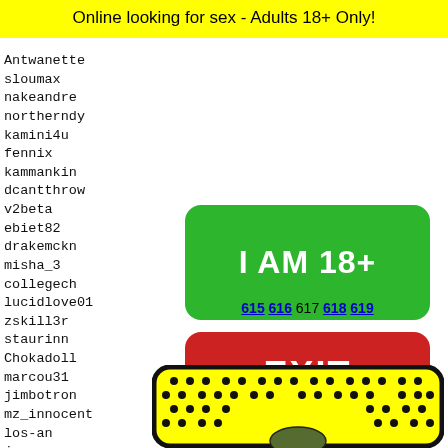Online looking for sex - Adults 18+ Only!
Antwanette
sloumax
nakeandre
northerndy
kamini4u
fennix
kammankin
dcantthrow
v2beta
ebiet82
drakemckn
misha_3
collegech
lucidlove01
zskill3r
staurinn
Chokadoll
marcou31
jimbotron
mz_innocent
los-an
jeremy
mae456
MzYank
jayapr
0_lawr
[Figure (infographic): Green button labeled I AM 18+]
[Figure (infographic): Red button labeled EXIT]
615 616 617 618 619
[Figure (illustration): Yellow rounded rectangle with black dots pattern and character face at bottom]